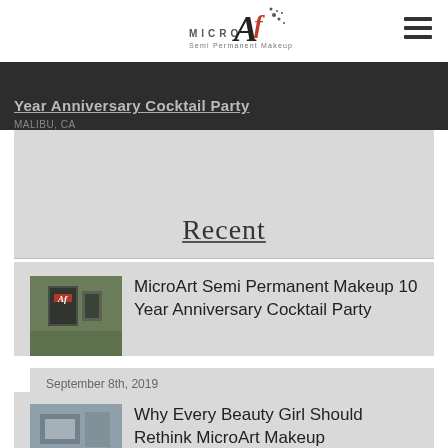[Figure (logo): MicroArt Semi Permanent Makeup logo with stylized 'Af' monogram in red and black, text 'MICRO' and 'Semi Permanent Makeup']
[Figure (illustration): Hamburger menu icon (three horizontal lines) in top right corner]
[Figure (photo): Dark hero banner image showing partial text 'Year Anniversary Cocktail Party' with location text below]
Recent
[Figure (photo): Thumbnail photo of MicroArt signage with logo on green foliage background]
MicroArt Semi Permanent Makeup 10 Year Anniversary Cocktail Party
September 8th, 2019
[Figure (photo): Thumbnail photo showing beauty/makeup related image]
Why Every Beauty Girl Should Rethink MicroArt Makeup